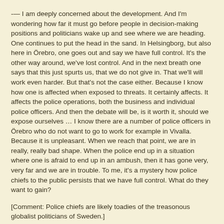— I am deeply concerned about the development. And I'm wondering how far it must go before people in decision-making positions and politicians wake up and see where we are heading. One continues to put the head in the sand. In Helsingborg, but also here in Örebro, one goes out and say we have full control. It's the other way around, we've lost control. And in the next breath one says that this just spurts us, that we do not give in. That we'll will work even harder. But that's not the case either. Because I know how one is affected when exposed to threats. It certainly affects. It affects the police operations, both the business and individual police officers. And then the debate will be, is it worth it, should we expose ourselves … I know there are a number of police officers in Örebro who do not want to go to work for example in Vivalla. Because it is unpleasant. When we reach that point, we are in really, really bad shape. When the police end up in a situation where one is afraid to end up in an ambush, then it has gone very, very far and we are in trouble. To me, it's a mystery how police chiefs to the public persists that we have full control. What do they want to gain?
[Comment: Police chiefs are likely toadies of the treasonous globalist politicians of Sweden.]